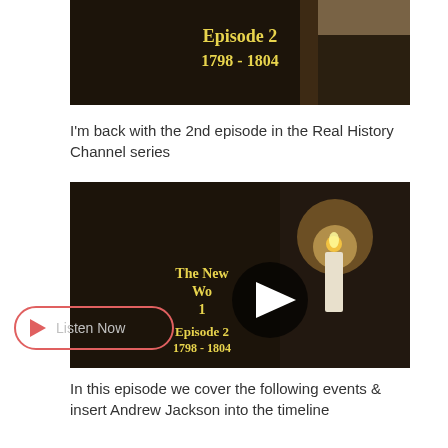[Figure (screenshot): Dark thumbnail image showing text 'Episode 2 1798 - 1804' in yellow on dark background with book and candle]
I'm back with the 2nd episode in the Real History Channel series
[Figure (screenshot): Video thumbnail with play button overlay showing 'The New Wo... 1... Episode 2 1798 - 1804' in yellow on dark background, with a candle visible. A 'Listen Now' button with pink play icon appears overlaid on the lower left.]
In this episode we cover the following events & insert Andrew Jackson into the timeline